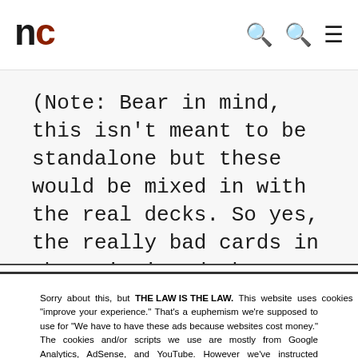nc
(Note: Bear in mind, this isn't meant to be standalone but these would be mixed in with the real decks. So yes, the really bad cards in the existing decks would go with these. Yes, especially the one you're thinking
Sorry about this, but THE LAW IS THE LAW. This website uses cookies to "improve your experience." That's a euphemism we're supposed to use for "We have to have these ads because websites cost money." The cookies and/or scripts we use are mostly from Google Analytics, AdSense, and YouTube. However we've instructed Google to anonymize any data that they collect. Just so you know. We'll assume you're ok with this, but you can opt-out if you wish. Just bear in mind, certain embeds and such might not work.<br /> <br /> Also, please be aware that when we link out to products, we may earn a commission for doing so. Because we're certainly not doing it for our health. See our privacy policy & terms of use for more info than you would ever want to know. – Privacy Policy & Terms of Use